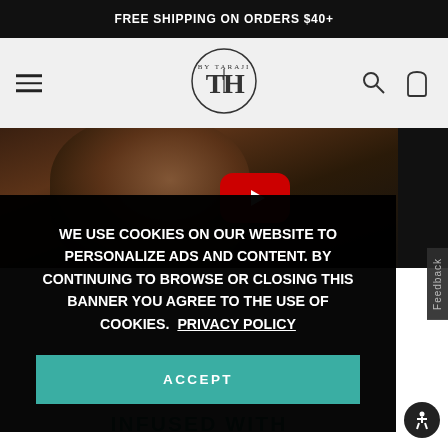FREE SHIPPING ON ORDERS $40+
[Figure (logo): TPH by Taraji brand logo circle with TH monogram]
[Figure (screenshot): Video thumbnail showing a woman with YouTube play button overlay]
WE USE COOKIES ON OUR WEBSITE TO PERSONALIZE ADS AND CONTENT. BY CONTINUING TO BROWSE OR CLOSING THIS BANNER YOU AGREE TO THE USE OF COOKIES.  PRIVACY POLICY
ACCEPT
Feedback
INFUSED WITH